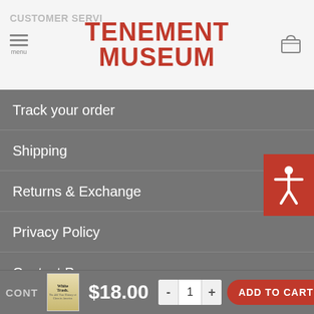CUSTOMER SERVICE | TENEMENT MUSEUM
Track your order
Shipping
Returns & Exchange
Privacy Policy
Contact Page
MUSEUM SHOP
103 Orchard St
New York, NY 10002
$18.00 — ADD TO CART